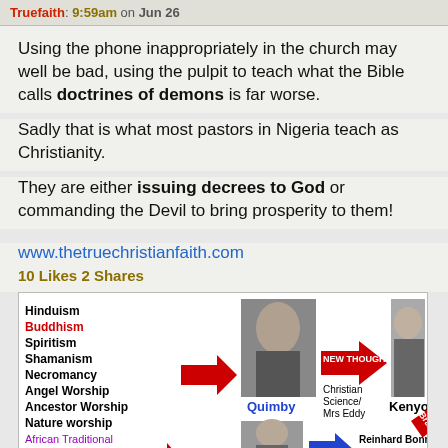Truefaith: 9:59am on Jun 26
Using the phone inappropriately in the church may well be bad, using the pulpit to teach what the Bible calls doctrines of demons is far worse.
Sadly that is what most pastors in Nigeria teach as Christianity.
They are either issuing decrees to God or commanding the Devil to bring prosperity to them!
www.thetruechristianfaith.com
10 Likes 2 Shares
[Figure (infographic): Infographic showing ideological connections: Hinduism, Buddhism, Spiritism, Shamanism, Necromancy, Angel Worship, Ancestor Worship, Nature worship, African Traditional Religions arrow to Quimby, then NEW THOUGHT arrow to Christian Science/Mrs Eddy, then to Kenyon with Branham arrow, bottom row shows additional figures with Reinhard Bonnke, Benny Hinn labels]